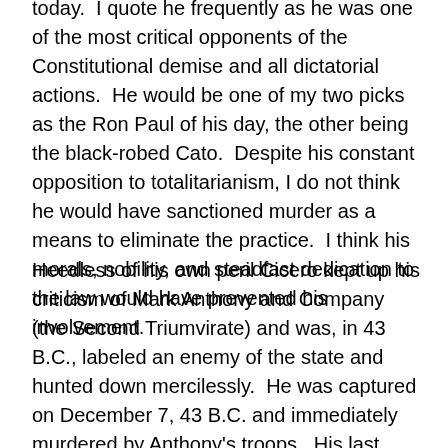today.  I quote he frequently as he was one of the most critical opponents of the Constitutional demise and all dictatorial actions.  He would be one of my two picks as the Ron Paul of his day, the other being the black-robed Cato.  Despite his constant opposition to totalitarianism, I do not think he would have sanctioned murder as a means to eliminate the practice.  I think his morals, nobility, and steadfast dedication to the law would have prevented his involvement.
Heedless of his own peril Cicero kept up his criticism of Mark Anthony and Company (the Second Triumvirate) and was, in 43 B.C., labeled an enemy of the state and hunted down mercilessly.  He was captured on December 7, 43 B.C. and immediately murdered by Anthony's troops.  His last words (according to Plutarch?) were allegedly: “There